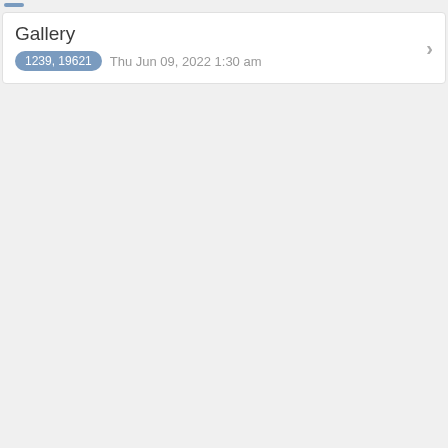Gallery
1239, 19621  Thu Jun 09, 2022 1:30 am